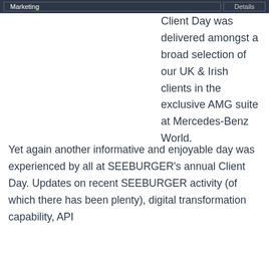Marketing | Details
Client Day was delivered amongst a broad selection of our UK & Irish clients in the exclusive AMG suite at Mercedes-Benz World.
Yet again another informative and enjoyable day was experienced by all at SEEBURGER's annual Client Day. Updates on recent SEEBURGER activity (of which there has been plenty), digital transformation capability, API